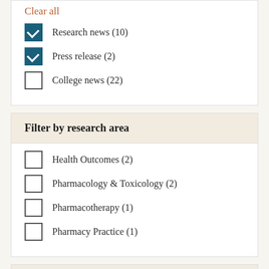Clear all
Research news (10)
Press release (2)
College news (22)
Filter by research area
Health Outcomes (2)
Pharmacology & Toxicology (2)
Pharmacotherapy (1)
Pharmacy Practice (1)
Filter by faculty member